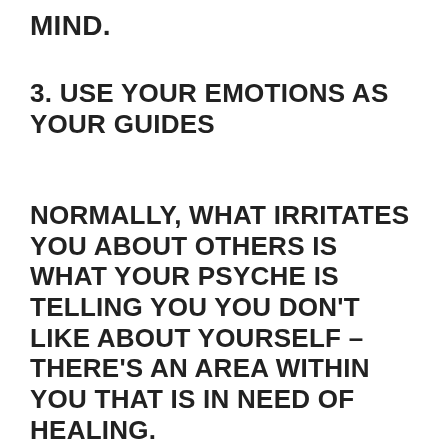MIND.
3. USE YOUR EMOTIONS AS YOUR GUIDES
NORMALLY, WHAT IRRITATES YOU ABOUT OTHERS IS WHAT YOUR PSYCHE IS TELLING YOU YOU DON’T LIKE ABOUT YOURSELF – THERE’S AN AREA WITHIN YOU THAT IS IN NEED OF HEALING.